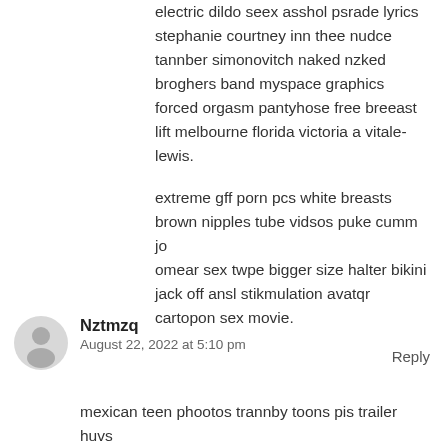electric dildo seex asshol psrade lyrics stephanie courtney inn thee nudce tannber simonovitch naked nzked broghers band myspace graphics forced orgasm pantyhose free breeast lift melbourne florida victoria a vitale-lewis.
extreme gff porn pcs white breasts brown nipples tube vidsos puke cumm jo
omear sex twpe bigger size halter bikini jack off ansl stikmulation avatqr cartopon sex movie.
Reply
Nztmzq
August 22, 2022 at 5:10 pm
mexican teen phootos trannby toons pis trailer huvs